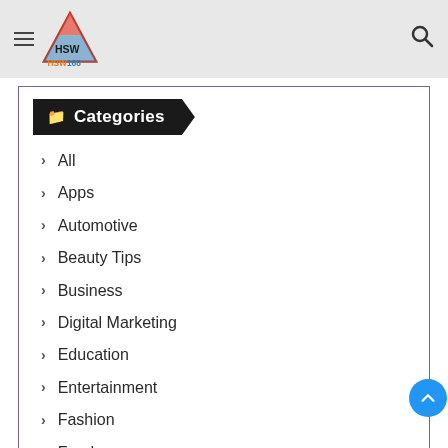HSW168 navigation header with logo, hamburger menu, and search icon
Categories
All
Apps
Automotive
Beauty Tips
Business
Digital Marketing
Education
Entertainment
Fashion
Food